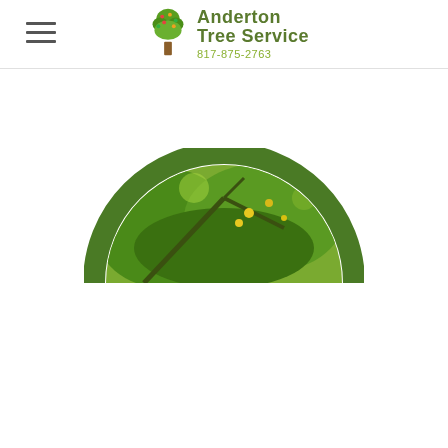[Figure (logo): Anderton Tree Service logo with stylized tree icon and phone number 817-875-2763]
[Figure (photo): Partial circular/arc shaped photo of tree branches with green foliage and yellow flowers, visible as the top arc portion of a circular image]